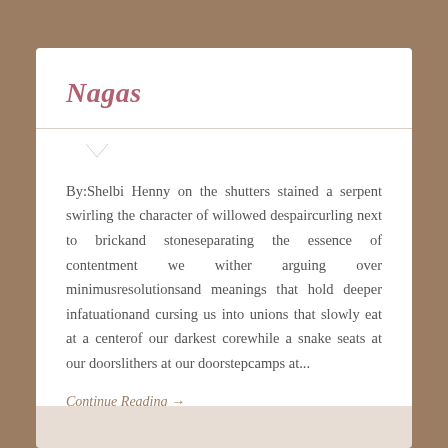Nagas
By:Shelbi Henny on the shutters stained a serpent swirling the character of willowed despaircurling next to brickand stoneseparating the essence of contentment we wither arguing over minimusresolutionsand meanings that hold deeper infatuationand cursing us into unions that slowly eat at a centerof our darkest corewhile a snake seats at our doorslithers at our doorstepcamps at...
Continue Reading →